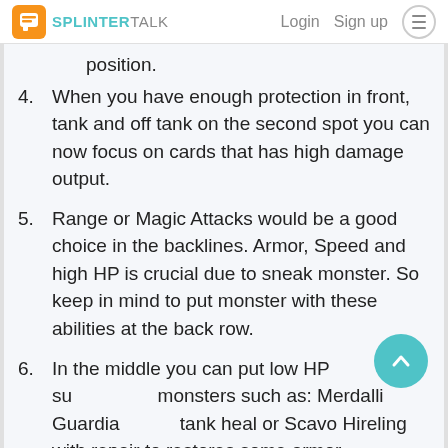SPLINTERTALK | Login  Sign up
position.
4. When you have enough protection in front, tank and off tank on the second spot you can now focus on cards that has high damage output.
5. Range or Magic Attacks would be a good choice in the backlines. Armor, Speed and high HP is crucial due to sneak monster. So keep in mind to put monster with these abilities at the back row.
6. In the middle you can put low HP support monsters such as: Merdalli Guardian with tank heal or Scavo Hireling with repair to restores some armor.